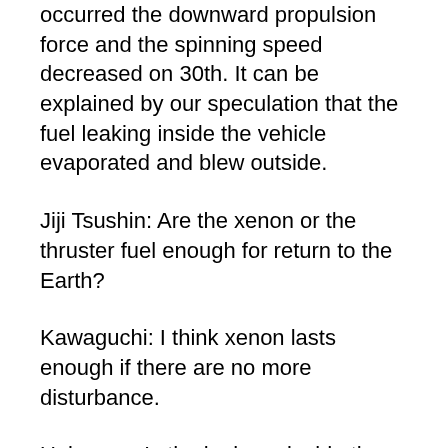occurred the downward propulsion force and the spinning speed decreased on 30th. It can be explained by our speculation that the fuel leaking inside the vehicle evaporated and blew outside.
Jiji Tsushin: Are the xenon or the thruster fuel enough for return to the Earth?
Kawaguchi: I think xenon lasts enough if there are no more disturbance.
Unknown: Is the leakage inside the vehicle stopping?
Kawaguchi: Stopping. If it continued, the vehicle temperature would decrease by vaporization heat. Now we are heating the vehicle to vaporize and eject the leaked fuel remaining inside.